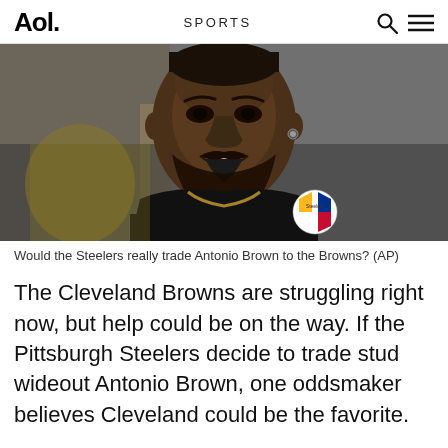Aol. SPORTS
[Figure (photo): Antonio Brown wearing a black Pittsburgh Steelers t-shirt with the Steelers logo visible on the chest, smiling, with a blurred background of other players]
Would the Steelers really trade Antonio Brown to the Browns? (AP)
The Cleveland Browns are struggling right now, but help could be on the way. If the Pittsburgh Steelers decide to trade stud wideout Antonio Brown, one oddsmaker believes Cleveland could be the favorite.